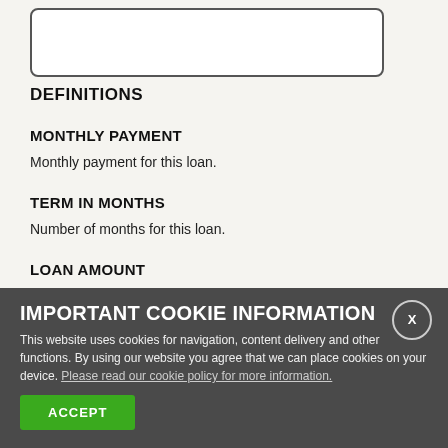DEFINITIONS
MONTHLY PAYMENT
Monthly payment for this loan.
TERM IN MONTHS
Number of months for this loan.
LOAN AMOUNT
IMPORTANT COOKIE INFORMATION
This website uses cookies for navigation, content delivery and other functions. By using our website you agree that we can place cookies on your device. Please read our cookie policy for more information.